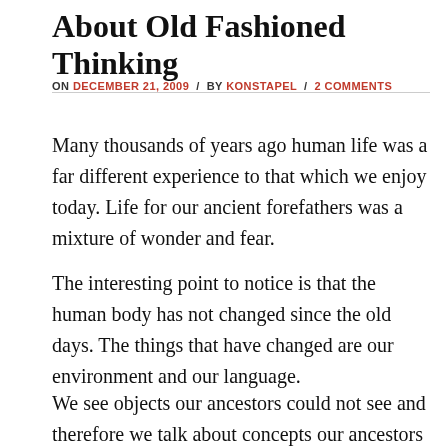About Old Fashioned Thinking
ON DECEMBER 21, 2009 / BY KONSTAPEL / 2 COMMENTS
Many thousands of years ago human life was a far different experience to that which we enjoy today. Life for our ancient forefathers was a mixture of wonder and fear.
The interesting point to notice is that the human body has not changed since the old days. The things that have changed are our environment and our language.
We see objects our ancestors could not see and therefore we talk about concepts our ancestors were not aware of.